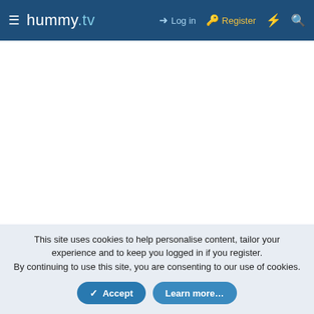hummy.tv — Log in  Register
HD/HDR-FOX T2 Customised Firmware
English (UK)  Contact us · Privacy policy · Help
This site uses cookies to help personalise content, tailor your experience and to keep you logged in if you register. By continuing to use this site, you are consenting to our use of cookies.